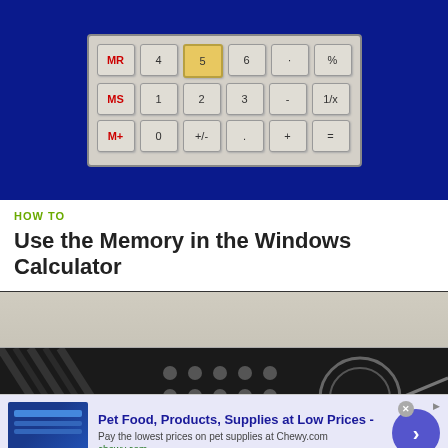[Figure (screenshot): Windows Calculator application showing memory and numeric buttons on a blue background. Rows show MR/4/5/6/dot/percent, MS/1/2/3/dash/1x, M+/0/+slash/dot/plus/equals. The '5' button is highlighted in yellow/gold.]
HOW TO
Use the Memory in the Windows Calculator
[Figure (photo): Close-up black and white photo of electronic/circuit board components and a guitar-like object, partially visible below a gray area representing a calculator display.]
[Figure (other): Advertisement banner for Chewy.com: 'Pet Food, Products, Supplies at Low Prices - Pay the lowest prices on pet supplies at Chewy.com' with a blue arrow button and ad thumbnail.]